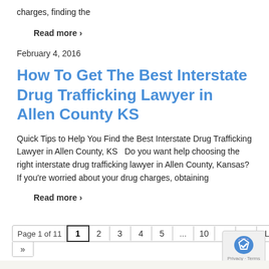charges, finding the
Read more ›
February 4, 2016
How To Get The Best Interstate Drug Trafficking Lawyer in Allen County KS
Quick Tips to Help You Find the Best Interstate Drug Trafficking Lawyer in Allen County, KS  Do you want help choosing the right interstate drug trafficking lawyer in Allen County, Kansas? If you're worried about your drug charges, obtaining
Read more ›
Page 1 of 11  1  2  3  4  5  ...  10  ...  »  L  »